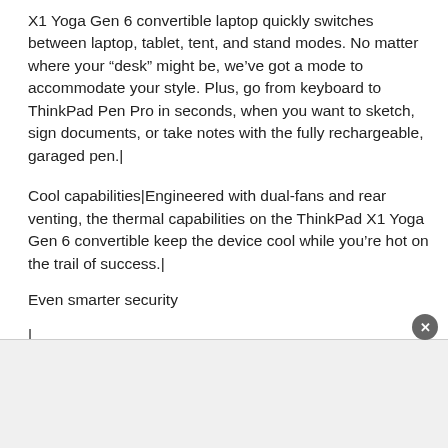X1 Yoga Gen 6 convertible laptop quickly switches between laptop, tablet, tent, and stand modes. No matter where your “desk” might be, we’ve got a mode to accommodate your style. Plus, go from keyboard to ThinkPad Pen Pro in seconds, when you want to sketch, sign documents, or take notes with the fully rechargeable, garaged pen.|
Cool capabilities|Engineered with dual-fans and rear venting, the thermal capabilities on the ThinkPad X1 Yoga Gen 6 convertible keep the device cool while you’re hot on the trail of success.|
Even smarter security
|
With an updated suite of built-in ThinkShield security solutions, the ThinkPad X1 Yoga Gen 6 2 in 1 laptop safeguards your device and your data. Biometrics provide an extra-secure fingerprint reader that’s integrated with the power button—so you can log in and boot up instantaneously. Optional human-presence detection